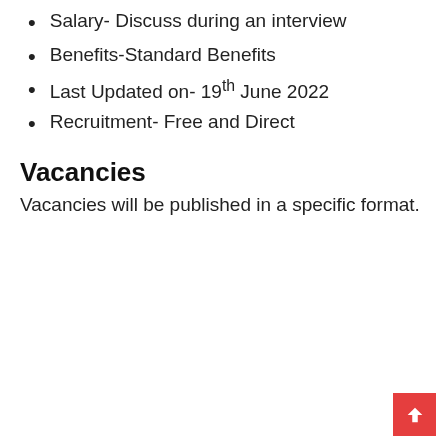Salary- Discuss during an interview
Benefits-Standard Benefits
Last Updated on- 19th June 2022
Recruitment- Free and Direct
Vacancies
Vacancies will be published in a specific format.